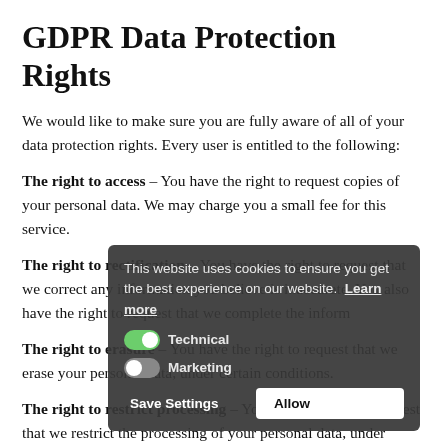GDPR Data Protection Rights
We would like to make sure you are fully aware of all of your data protection rights. Every user is entitled to the following:
The right to access – You have the right to request copies of your personal data. We may charge you a small fee for this service.
The right to rectification – You have the right to request that we correct any information you believe is inaccurate. You also have the right to request that we complete the information you believe is incomplete.
[Figure (screenshot): Cookie consent banner overlay with dark background showing: 'This website uses cookies to ensure you get the best experience on our website. Learn more' with Technical (toggle on/green) and Marketing (toggle off/grey) options, and Save Settings / Allow buttons.]
The right to erasure – You have the right to request that we erase your personal data, under certain conditions.
The right to restrict processing – You have the right to request that we restrict the processing of your personal data, under certain conditions.